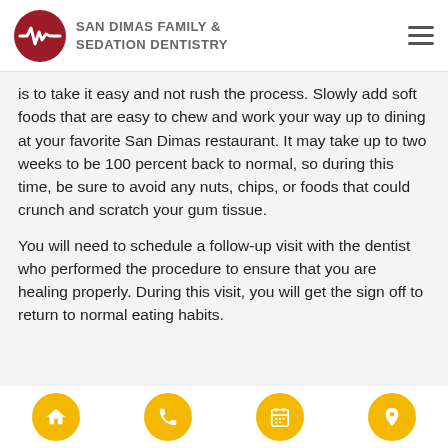SAN DIMAS FAMILY & SEDATION DENTISTRY
is to take it easy and not rush the process. Slowly add soft foods that are easy to chew and work your way up to dining at your favorite San Dimas restaurant. It may take up to two weeks to be 100 percent back to normal, so during this time, be sure to avoid any nuts, chips, or foods that could crunch and scratch your gum tissue.
You will need to schedule a follow-up visit with the dentist who performed the procedure to ensure that you are healing properly. During this visit, you will get the sign off to return to normal eating habits.